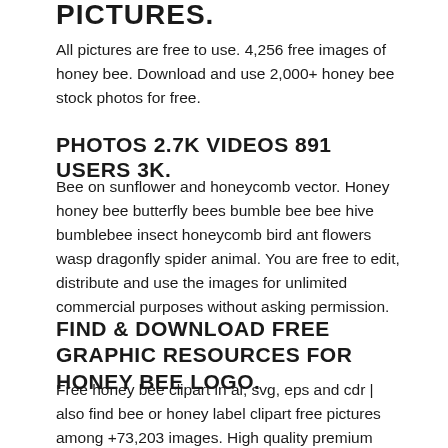PICTURES.
All pictures are free to use. 4,256 free images of honey bee. Download and use 2,000+ honey bee stock photos for free.
PHOTOS 2.7K VIDEOS 891 USERS 3K.
Bee on sunflower and honeycomb vector. Honey honey bee butterfly bees bumble bee bee hive bumblebee insect honeycomb bird ant flowers wasp dragonfly spider animal. You are free to edit, distribute and use the images for unlimited commercial purposes without asking permission.
FIND & DOWNLOAD FREE GRAPHIC RESOURCES FOR HONEY BEE LOGO.
Free honey bee clipart in ai, svg, eps and cdr | also find bee or honey label clipart free pictures among +73,203 images. High quality premium images, psd mockups and templates all safe for commercial use. In the large honey bee png gallery, all of the files